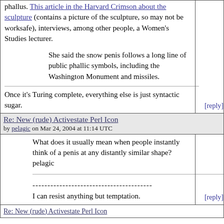phallus. This article in the Harvard Crimson about the sculpture (contains a picture of the sculpture, so may not be worksafe), interviews, among other people, a Women's Studies lecturer.
She said the snow penis follows a long line of public phallic symbols, including the Washington Monument and missiles.
Once it's Turing complete, everything else is just syntactic sugar.
[reply]
Re: New (rude) Activestate Perl Icon
by pelagic on Mar 24, 2004 at 11:14 UTC
What does it usually mean when people instantly think of a penis at any distantly similar shape? pelagic
----------------------------------------
I can resist anything but temptation.
[reply]
Re: New (rude) Activestate Perl Icon